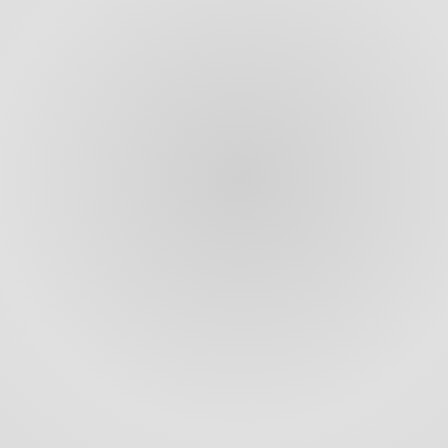[Figure (photo): Gray textured background on left side of page, partially visible]
when they offer
Workers aren't
When employer schedule, they' deserve to be i
Share this:
Email  Facebook
When w
JULY 17, 2020
PROGRESSIVE
[Figure (photo): Dark/black image thumbnail at bottom right]